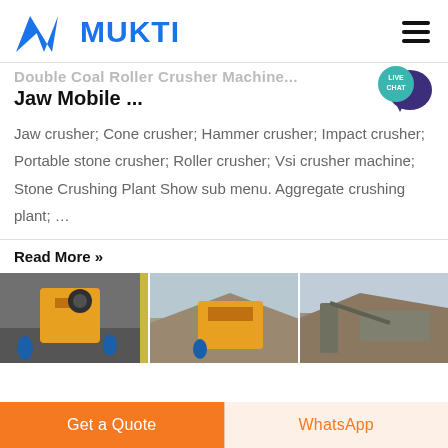MUKTI
Double Coal Roller Crusher Machine...
Jaw Mobile ...
Jaw crusher; Cone crusher; Hammer crusher; Impact crusher; Portable stone crusher; Roller crusher; Vsi crusher machine; Stone Crushing Plant Show sub menu. Aggregate crushing plant; ...
Read More »
[Figure (photo): Three photos of industrial crushing machines and quarry/stone crushing plant sites.]
Get a Quote
WhatsApp